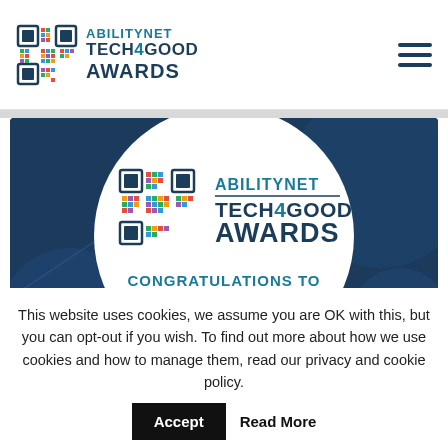ABILITYNET TECH4GOOD AWARDS
[Figure (illustration): AbilityNet Tech4Good Awards hero image showing the award logo on a dark blue background with a white circle containing the logo, and text reading 'CONGRATULATIONS TO ALL OUR WINNERS']
This website uses cookies, we assume you are OK with this, but you can opt-out if you wish. To find out more about how we use cookies and how to manage them, read our privacy and cookie policy.
Accept
Read More